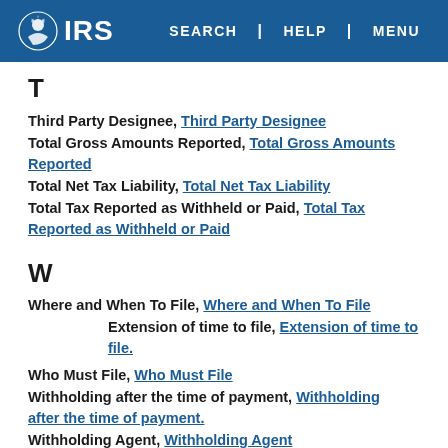IRS | SEARCH | HELP | MENU
T
Third Party Designee, Third Party Designee
Total Gross Amounts Reported, Total Gross Amounts Reported
Total Net Tax Liability, Total Net Tax Liability
Total Tax Reported as Withheld or Paid, Total Tax Reported as Withheld or Paid
W
Where and When To File, Where and When To File
Extension of time to file, Extension of time to file.
Who Must File, Who Must File
Withholding after the time of payment, Withholding after the time of payment.
Withholding Agent, Withholding Agent